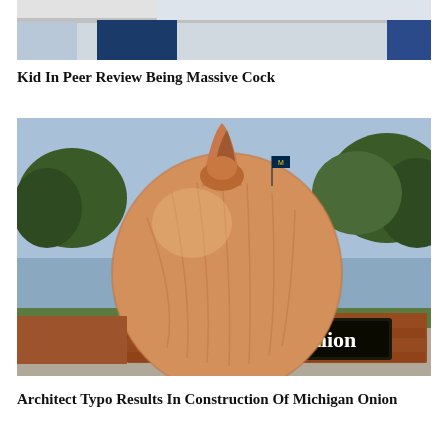[Figure (photo): Partial view of a classroom or office scene showing a desk and a person partially visible from the waist down]
Kid In Peer Review Being Massive Cock
[Figure (photo): Photoshopped image of a giant onion placed at the entrance of the University of Michigan, where a sign reads 'Michigan Onion' instead of 'Michigan Union'. A small Michigan flag is visible at the top of the onion.]
Architect Typo Results In Construction Of Michigan Onion